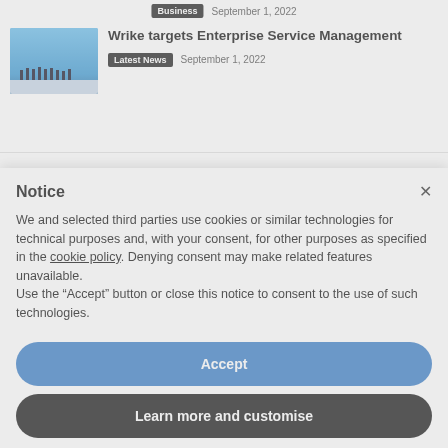Business   September 1, 2022
[Figure (photo): Thumbnail image showing silhouettes of people walking under a blue sky]
Wrike targets Enterprise Service Management
Latest News   September 1, 2022
Notice
We and selected third parties use cookies or similar technologies for technical purposes and, with your consent, for other purposes as specified in the cookie policy. Denying consent may make related features unavailable.
Use the “Accept” button or close this notice to consent to the use of such technologies.
Accept
Learn more and customise